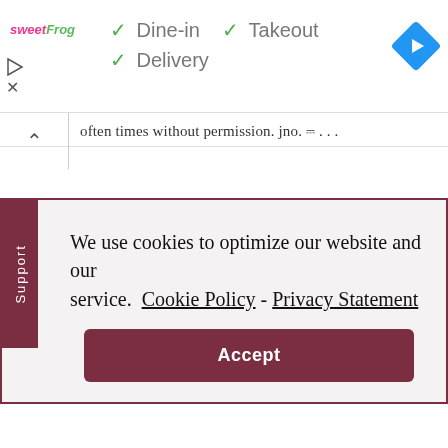[Figure (logo): sweetFrog logo in pink and green italic text]
✓ Dine-in   ✓ Takeout
✓ Delivery
[Figure (other): Blue diamond navigation icon with right-turn arrow]
often times without permission. jno. ⊓ . . .
We use cookies to optimize our website and our service.  Cookie Policy - Privacy Statement
Accept